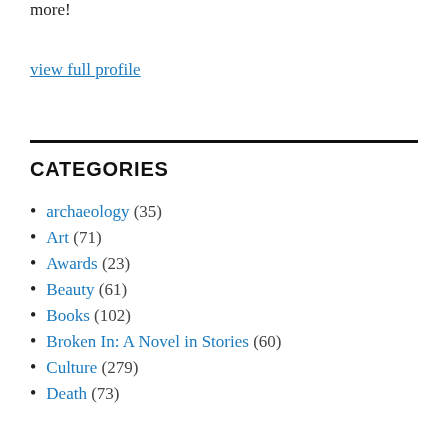more!
view full profile
CATEGORIES
archaeology (35)
Art (71)
Awards (23)
Beauty (61)
Books (102)
Broken In: A Novel in Stories (60)
Culture (279)
Death (73)